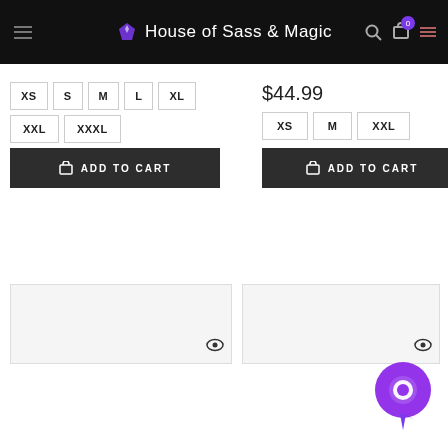House of Sass & Magic
$44.99
XS S M L XL XXL XXXL
XS M XXL
[Figure (screenshot): Add to Cart button left product]
[Figure (screenshot): Add to Cart button right product]
[Figure (screenshot): Product card preview left with eye icon]
[Figure (screenshot): Product card preview right with eye icon]
[Figure (illustration): Purple chat/support bubble widget bottom right]